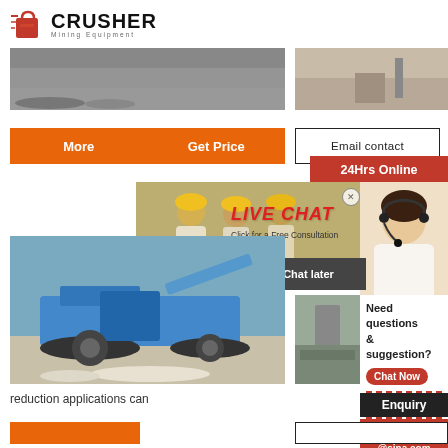[Figure (logo): Crusher Mining Equipment logo with red shopping bag icon and bold CRUSHER text]
[Figure (photo): Mining/quarry site top-left photo]
[Figure (photo): Mining/quarry site top-right photo]
More   Get Price
Email contact
24Hrs Online
[Figure (screenshot): Live chat popup with workers in hard hats, LIVE CHAT heading, Chat now and Chat later buttons]
[Figure (photo): Blue mobile crusher machine at quarry site]
[Figure (photo): Industrial facility photo on right]
Need questions & suggestion?
Chat Now
Enquiry
limingjlmofen@sina.com
reduction applications can